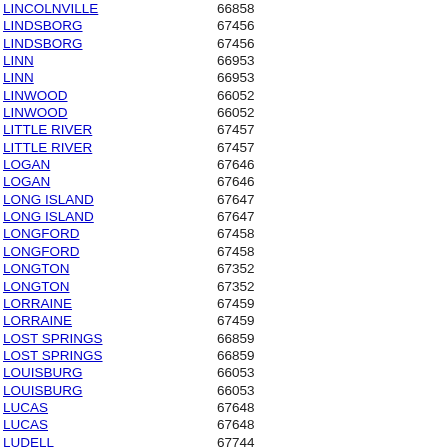| City | ZIP |
| --- | --- |
| LINCOLNVILLE | 66858 |
| LINDSBORG | 67456 |
| LINDSBORG | 67456 |
| LINN | 66953 |
| LINN | 66953 |
| LINWOOD | 66052 |
| LINWOOD | 66052 |
| LITTLE RIVER | 67457 |
| LITTLE RIVER | 67457 |
| LOGAN | 67646 |
| LOGAN | 67646 |
| LONG ISLAND | 67647 |
| LONG ISLAND | 67647 |
| LONGFORD | 67458 |
| LONGFORD | 67458 |
| LONGTON | 67352 |
| LONGTON | 67352 |
| LORRAINE | 67459 |
| LORRAINE | 67459 |
| LOST SPRINGS | 66859 |
| LOST SPRINGS | 66859 |
| LOUISBURG | 66053 |
| LOUISBURG | 66053 |
| LUCAS | 67648 |
| LUCAS | 67648 |
| LUDELL | 67744 |
| LUDELL | 67744 |
| LURAY | 67649 |
| LURAY | 67649 |
| LYNDON | 66451 |